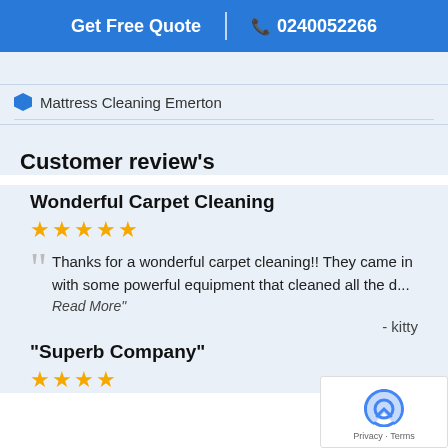Get Free Quote | ☎ 0240052266
Mattress Cleaning Emerton
Customer review's
Wonderful Carpet Cleaning
★★★★★
Thanks for a wonderful carpet cleaning!! They came in with some powerful equipment that cleaned all the d... Read More"
- kitty
"Superb Company"
★★★★★